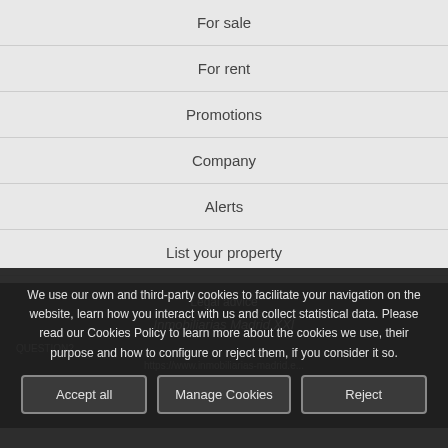For sale
For rent
Promotions
Company
Alerts
List your property
Privacy policy
We use our own and third-party cookies to facilitate your navigation on the website, learn how you interact with us and collect statistical data. Please read our Cookies Policy to learn more about the cookies we use, their purpose and how to configure or reject them, if you consider it so.
Accept all
Manage Cookies
Reject
Legal advice
Inmobiliarias Madrid XXI
QUESTION? ...
https://www.inmobiliarias-madrid.e...